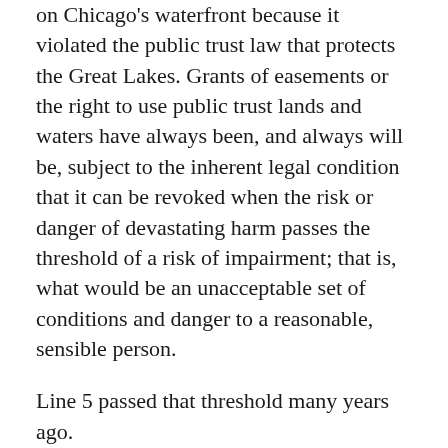on Chicago's waterfront because it violated the public trust law that protects the Great Lakes. Grants of easements or the right to use public trust lands and waters have always been, and always will be, subject to the inherent legal condition that it can be revoked when the risk or danger of devastating harm passes the threshold of a risk of impairment; that is, what would be an unacceptable set of conditions and danger to a reasonable, sensible person.
Line 5 passed that threshold many years ago.
To reach that conclusion, Michigan's leaders dug into the facts, data, and studies finally disclosed by Enbridge after demands from the DNR, the Department of Environment, Great Lakes, and Energy (EGLE), and the Attorney General's office, and the order entered by the Circuit Court for